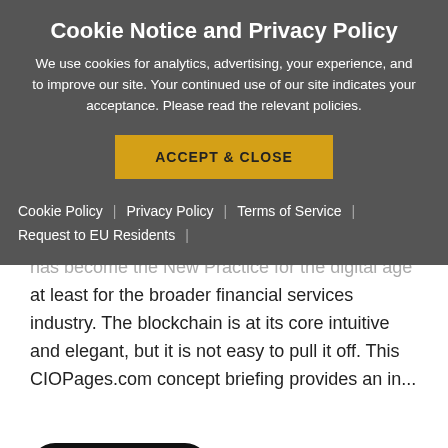Cookie Notice and Privacy Policy
We use cookies for analytics, advertising, your experience, and to improve our site. Your continued use of our site indicates your acceptance. Please read the relevant policies.
ACCEPT & CLOSE
Cookie Policy | Privacy Policy | Terms of Service | Request to EU Residents |
has become the New Practice for the digital age at least for the broader financial services industry. The blockchain is at its core intuitive and elegant, but it is not easy to pull it off. This CIOPages.com concept briefing provides an in...
View Product